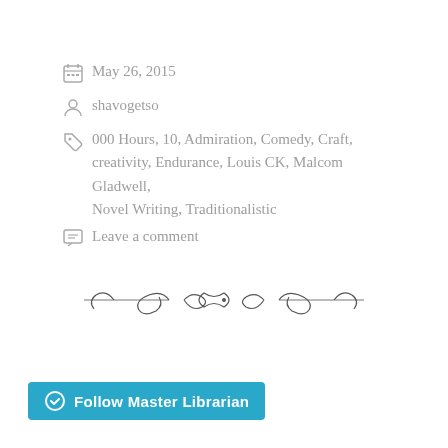May 26, 2015
shavogetso
000 Hours, 10, Admiration, Comedy, Craft, creativity, Endurance, Louis CK, Malcom Gladwell, Novel Writing, Traditionalistic
Leave a comment
[Figure (illustration): Decorative ornamental divider with swirling flourishes]
[Figure (other): WordPress Follow Master Librarian button]